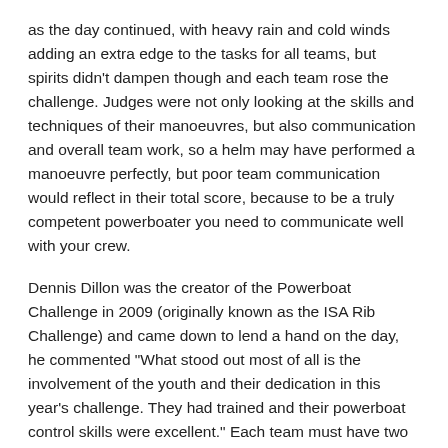as the day continued, with heavy rain and cold winds adding an extra edge to the tasks for all teams, but spirits didn't dampen though and each team rose the challenge. Judges were not only looking at the skills and techniques of their manoeuvres, but also communication and overall team work, so a helm may have performed a manoeuvre perfectly, but poor team communication would reflect in their total score, because to be a truly competent powerboater you need to communicate well with your crew.
Dennis Dillon was the creator of the Powerboat Challenge in 2009 (originally known as the ISA Rib Challenge) and came down to lend a hand on the day, he commented "What stood out most of all is the involvement of the youth and their dedication in this year's challenge. They had trained and their powerboat control skills were excellent." Each team must have two youths aged between 12 and 17 and they are an integral part of the team working as helm, as well as crew. The overall